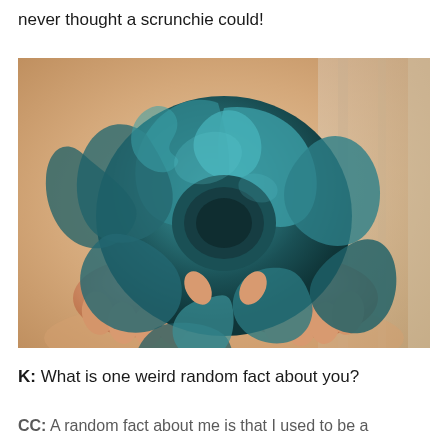never thought a scrunchie could!
[Figure (photo): Hands holding a large teal/dark green satin scrunchie against a blurred light background with soft fabric visible]
K: What is one weird random fact about you?
CC: A random fact about me is that I used to be a